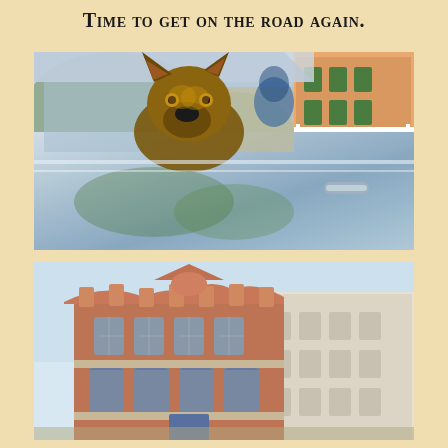Time to get on the road again.
[Figure (photo): A dog (German Shepherd mix) leaning out of the open window of a shiny chrome classic truck, with a colorful building with green shutters visible in the background. Trees reflect in the polished chrome door.]
[Figure (photo): An old brick building with ornate facade, two stories, featuring arched windows and decorative stonework on the lower level, with a lighter colored adjacent building to the right. Photographed against a pale blue sky.]